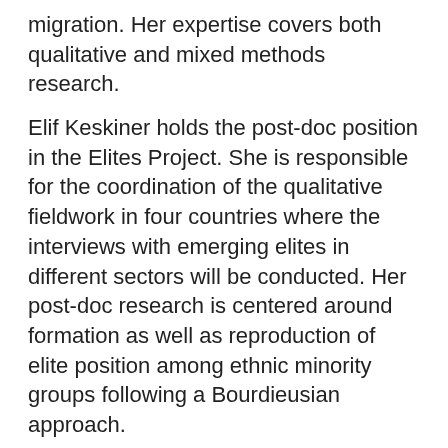migration. Her expertise covers both qualitative and mixed methods research.
Elif Keskiner holds the post-doc position in the Elites Project. She is responsible for the coordination of the qualitative fieldwork in four countries where the interviews with emerging elites in different sectors will be conducted. Her post-doc research is centered around formation as well as reproduction of elite position among ethnic minority groups following a Bourdieusian approach.
Recent Publications
With Maurice Crul, Min Zhou, Jennifer Lee, Philipp Schnell ( 2012)
"Success Against All Odds: Second Generation Mexicans in Los Angeles and Second Generation Turks in Western European cities" in The Changing Face of World Cities. Young Adult Children of